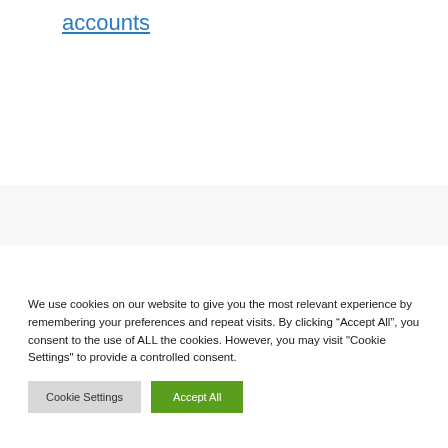accounts
We use cookies on our website to give you the most relevant experience by remembering your preferences and repeat visits. By clicking “Accept All”, you consent to the use of ALL the cookies. However, you may visit "Cookie Settings" to provide a controlled consent.
Cookie Settings    Accept All